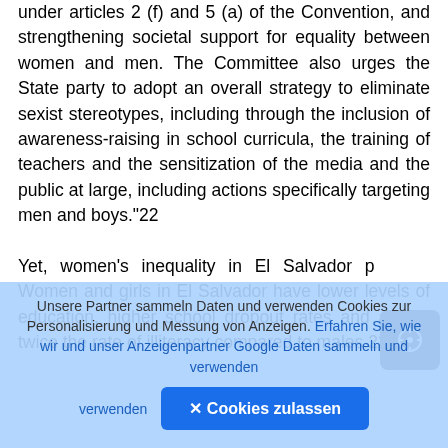under articles 2 (f) and 5 (a) of the Convention, and strengthening societal support for equality between women and men. The Committee also urges the State party to adopt an overall strategy to eliminate sexist stereotypes, including through the inclusion of awareness-raising in school curricula, the training of teachers and the sensitization of the media and the public at large, including actions specifically targeting men and boys."22
Yet, women's inequality in El Salvador p... Women and girls in El Salvador have lower levels of education, higher school dropout rates and almost twice the rate of illiteracy compared to males.23
[Figure (screenshot): Cookie consent overlay in German language with blue background, text about partners collecting data and using cookies, a link 'Erfahren Sie, wie wir und unser Anzeigenpartner Google Daten sammeln und verwenden', and a blue button 'Cookies zulassen']